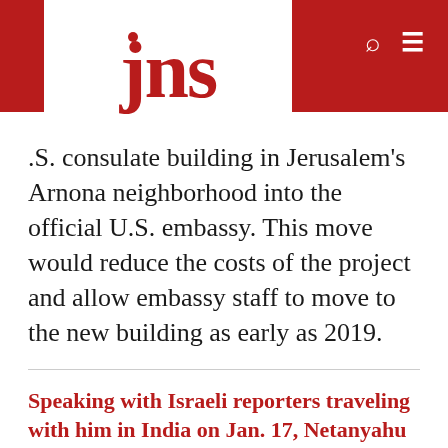[Figure (logo): JNS logo — red text on white background with red dot over the 'j']
.S. consulate building in Jerusalem's Arnona neighborhood into the official U.S. embassy. This move would reduce the costs of the project and allow embassy staff to move to the new building as early as 2019.
Speaking with Israeli reporters traveling with him in India on Jan. 17, Netanyahu said it was his “educated guess” that the American embassy move “will happen faster than we think. Within the span of a year.”